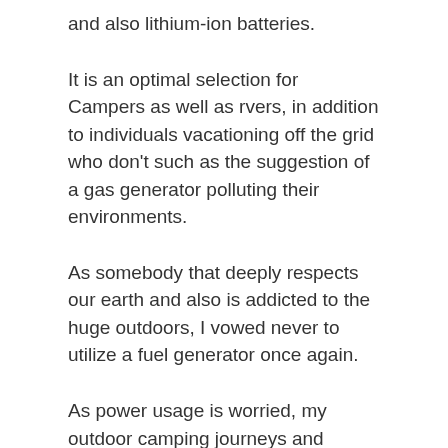and also lithium-ion batteries.
It is an optimal selection for Campers as well as rvers, in addition to individuals vacationing off the grid who don't such as the suggestion of a gas generator polluting their environments.
As somebody that deeply respects our earth and also is addicted to the huge outdoors, I vowed never to utilize a fuel generator once again.
As power usage is worried, my outdoor camping journeys and recreational vehicle getaways are near-to-zero discharges.
Get The Best Deals At Bluetti Today